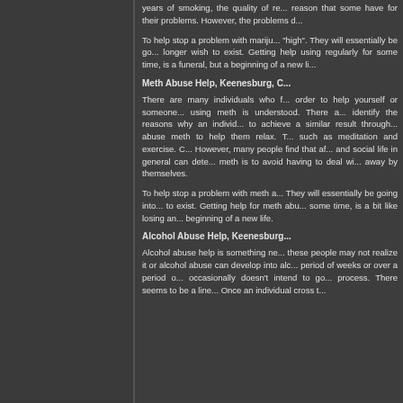years of smoking, the quality of re... reason that some have for their... problems. However, the problems d...
To help stop a problem with mariju... "high". They will essentially be go... longer wish to exist. Getting help... using regularly for some time, is a... funeral, but a beginning of a new li...
Meth Abuse Help, Keenesburg, C...
There are many individuals who f... order to help yourself or someone... using meth is understood. There a... identify the reasons why an individ... to achieve a similar result through... abuse meth to help them relax. T... such as meditation and exercise. C... However, many people find that af... and social life in general can dete... meth is to avoid having to deal wi... away by themselves.
To help stop a problem with meth a... They will essentially be going into... to exist. Getting help for meth abu... some time, is a bit like losing an... beginning of a new life.
Alcohol Abuse Help, Keenesburg...
Alcohol abuse help is something ne... these people may not realize it or... alcohol abuse can develop into alc... period of weeks or over a period o... occasionally doesn't intend to go... process. There seems to be a line... Once an individual cross t...